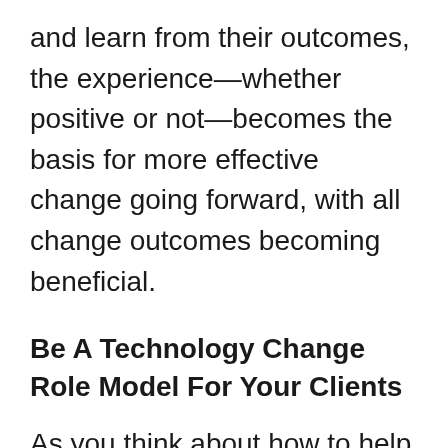and learn from their outcomes, the experience—whether positive or not—becomes the basis for more effective change going forward, with all change outcomes becoming beneficial.
Be A Technology Change Role Model For Your Clients
As you think about how to help your clients become more receptive to new technologies, first take an honest look at your